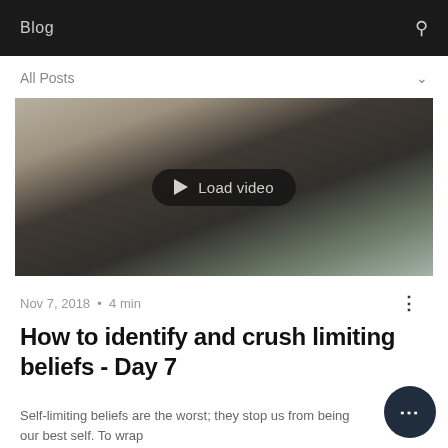Blog
All Posts
[Figure (screenshot): Video thumbnail showing a woman in a black top in an office environment with shelves and windows. A 'Load video' pill-shaped button with a play icon is centered over the image.]
Nov 7, 2018 · 4 min
How to identify and crush limiting beliefs - Day 7
Self-limiting beliefs are the worst; they stop us from being our best self. To wrap